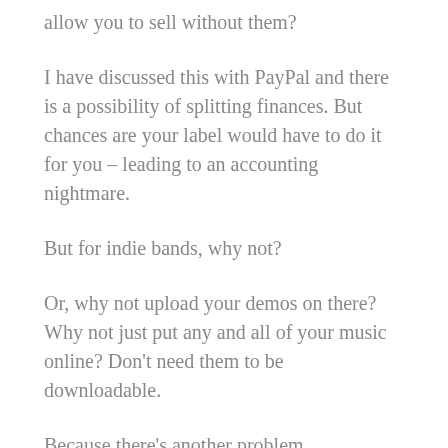allow you to sell without them?
I have discussed this with PayPal and there is a possibility of splitting finances. But chances are your label would have to do it for you – leading to an accounting nightmare.
But for indie bands, why not?
Or, why not upload your demos on there? Why not just put any and all of your music online? Don't need them to be downloadable.
Because there's another problem approaching.
—